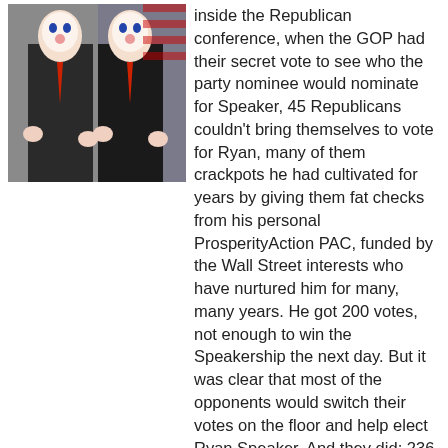[Figure (photo): Two men in suits with clown face makeup superimposed, standing in front of American flags]
inside the Republican conference, when the GOP had their secret vote to see who the party nominee would nominate for Speaker, 45 Republicans couldn't bring themselves to vote for Ryan, many of them crackpots he had cultivated for years by giving them fat checks from his personal ProsperityAction PAC, funded by the Wall Street interests who have nurtured him for many, many years. He got 200 votes, not enough to win the Speakership the next day. But it was clear that most of the opponents would switch their votes on the floor and help elect Ryan Speaker. And they did; 236 Republicans... more »
A Freed Syrian Town From The Islamic State Is Now Facing New Difficulties
War News Updates Editor at War News Updates - 11 hours ago
[Figure (map): Map of Syria showing areas of control, Assad regime, Baloch, Kurdish groups, and Islamic State territories]
*Liz Sly, Washington Post:* *They freed a Syrian town from ISIS. Now